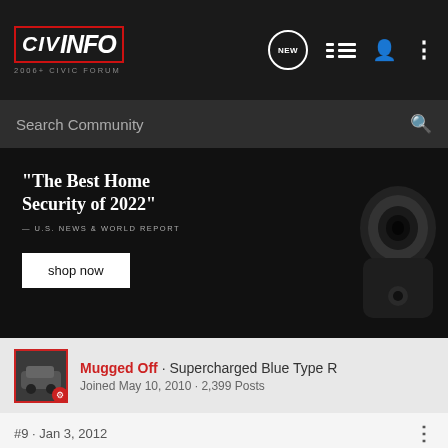CIVINFO 2006+ CIVIC FORUM
Search Community
[Figure (photo): Advertisement banner for home security camera. Text reads: "The Best Home Security of 2022" — U.S. NEWS & WORLD REPORT. Shop now button. Dark background with security camera image on right.]
Mugged Off · Supercharged Blue Type R
Joined May 10, 2010 · 2,399 Posts
#9 · Jan 3, 2012
The button should be in that space next to the "L" on the L+R button